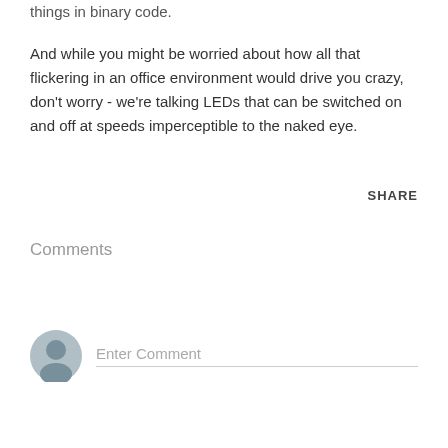things in binary code.
And while you might be worried about how all that flickering in an office environment would drive you crazy, don't worry - we're talking LEDs that can be switched on and off at speeds imperceptible to the naked eye.
SHARE
Comments
Enter Comment